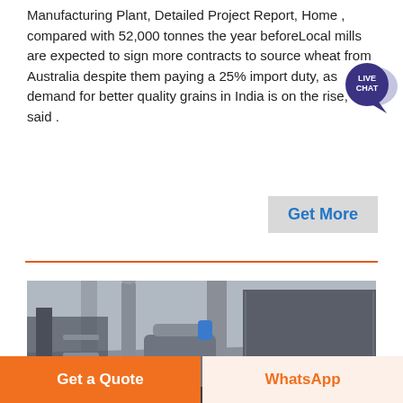Manufacturing Plant, Detailed Project Report, Home , compared with 52,000 tonnes the year beforeLocal mills are expected to sign more contracts to source wheat from Australia despite them paying a 25% import duty, as demand for better quality grains in India is on the rise, said .
[Figure (other): Live Chat badge/button with dark purple circle and speech bubble icon]
[Figure (photo): Industrial flour milling or grain processing plant interior showing large cylindrical metal tanks, pipes, and hopper/silo structures under a covered shelter.]
Get More
Get a Quote
WhatsApp